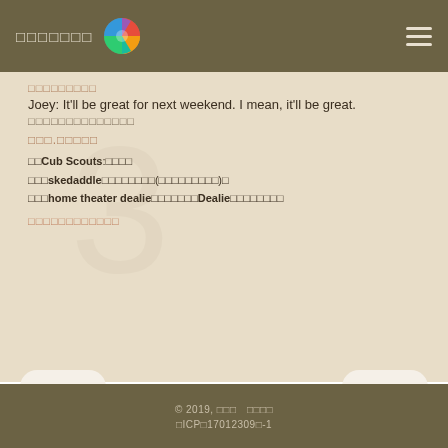□□□□□□□
□□□□□□□□□
Joey: It'll be great for next weekend. I mean, it'll be great.
□□□□□□□□□□□□□□
□□□.□□□□□
□□Cub Scouts:□□□□
□□□skedaddle□□□□□□□□(□□□□□□□□□)□
□□□home theater dealie□□□□□□□Dealie□□□□□□□□
□□□□□□□□□□□□
© 2019, □□□  □□□□
□ICP□17012309□-1